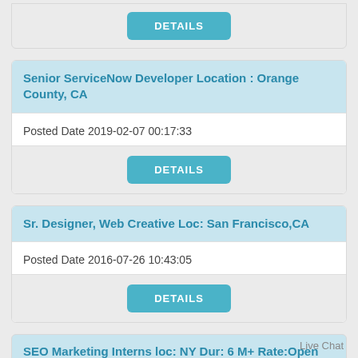DETAILS
Senior ServiceNow Developer Location : Orange County, CA
Posted Date 2019-02-07 00:17:33
DETAILS
Sr. Designer, Web Creative Loc: San Francisco,CA
Posted Date 2016-07-26 10:43:05
DETAILS
SEO Marketing Interns loc: NY Dur: 6 M+ Rate:Open
Live Chat